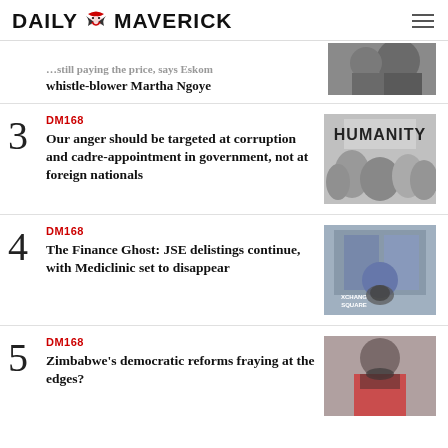DAILY MAVERICK
...still paying the price, says Eskom whistle-blower Martha Ngoye
DM168
Our anger should be targeted at corruption and cadre-appointment in government, not at foreign nationals
[Figure (photo): Black and white photo of protesters, one holding a sign reading HUMANITY]
DM168
The Finance Ghost: JSE delistings continue, with Mediclinic set to disappear
[Figure (photo): Photo of a building exterior with Exchange Square signage, man in foreground]
DM168
Zimbabwe's democratic reforms fraying at the edges?
[Figure (photo): Photo of a man wearing a red jacket and mask]